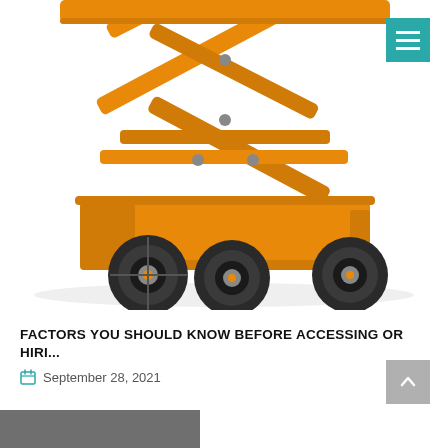[Figure (photo): Orange scissor lift / aerial work platform on white background, showing extended scissor mechanism and four large rubber wheels]
FACTORS YOU SHOULD KNOW BEFORE ACCESSING OR HIRI...
September 28, 2021
[Figure (photo): Partial bottom strip showing another image thumbnail]